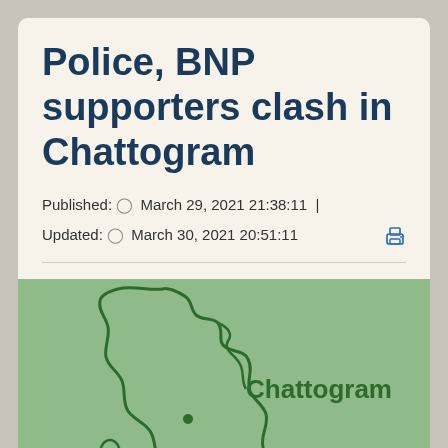Police, BNP supporters clash in Chattogram
Published: ○ March 29, 2021 21:38:11  |  Updated: ○ March 30, 2021 20:51:11
[Figure (map): Map outline of Chattogram district shown in dark green on a light green background, with the label 'Chattogram' in bold dark green text to the right of the map shape.]